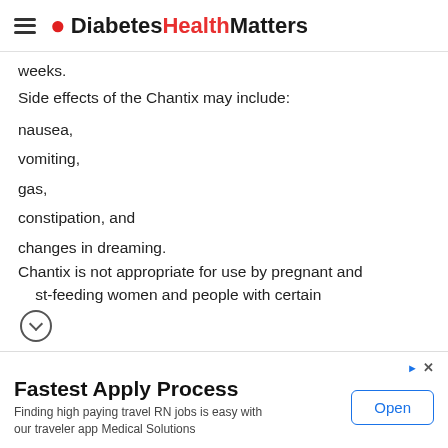DiabetesHealthMatters
weeks.
Side effects of the Chantix may include:
nausea,
vomiting,
gas,
constipation, and
changes in dreaming.
Chantix is not appropriate for use by pregnant and breast-feeding women and people with certain underlying conditions.
Fastest Apply Process
Finding high paying travel RN jobs is easy with our traveler app Medical Solutions